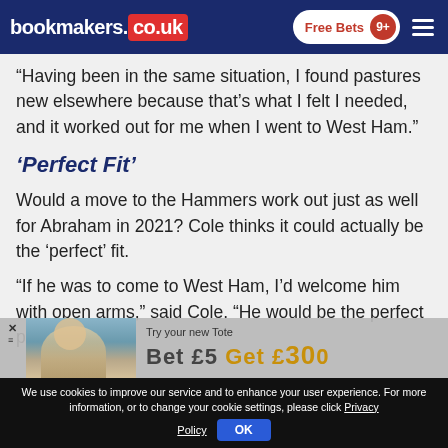bookmakers.co.uk | Free Bets 9+
“Having been in the same situation, I found pastures new elsewhere because that’s what I felt I needed, and it worked out for me when I went to West Ham.”
‘Perfect Fit’
Would a move to the Hammers work out just as well for Abraham in 2021? Cole thinks it could actually be the ‘perfect’ fit.
“If he was to come to West Ham, I’d welcome him with open arms,” said Cole. “He would be the perfect person to
[Figure (screenshot): Advertisement overlay showing a person and text 'Try your new Tote' with partial amounts visible]
We use cookies to improve our service and to enhance your user experience. For more information, or to change your cookie settings, please click Privacy Policy   OK